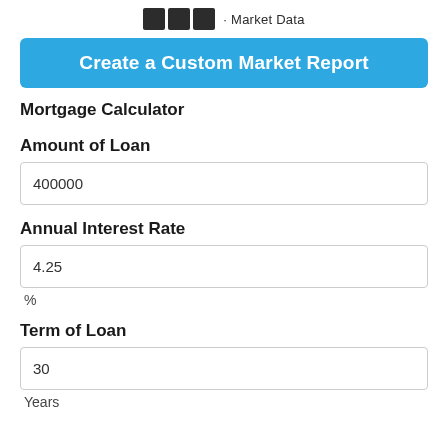• Market Data
Create a Custom Market Report
Mortgage Calculator
Amount of Loan
400000
Annual Interest Rate
4.25
%
Term of Loan
30
Years